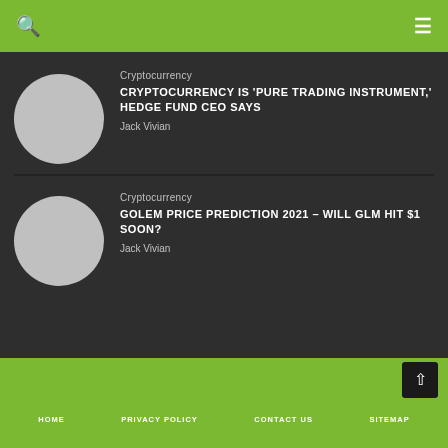Cryptocurrency
CRYPTOCURRENCY IS 'PURE TRADING INSTRUMENT,' HEDGE FUND CEO SAYS
Jack Vivian
Cryptocurrency
GOLEM PRICE PREDICTION 2021 – WILL GLM HIT $1 SOON?
Jack Vivian
HOME   PRIVACY POLICY   CONTACT US   SITEMAP